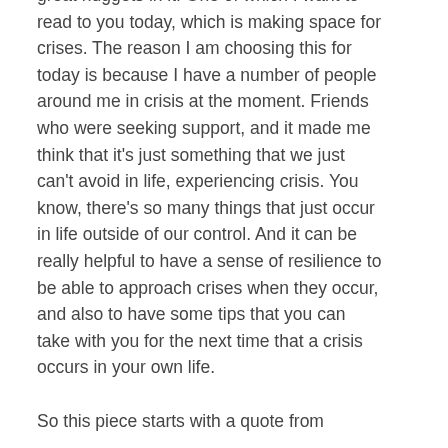great nuggets in it. One of which I want to read to you today, which is making space for crises. The reason I am choosing this for today is because I have a number of people around me in crisis at the moment. Friends who were seeking support, and it made me think that it's just something that we just can't avoid in life, experiencing crisis. You know, there's so many things that just occur in life outside of our control. And it can be really helpful to have a sense of resilience to be able to approach crises when they occur, and also to have some tips that you can take with you for the next time that a crisis occurs in your own life.

So this piece starts with a quote from